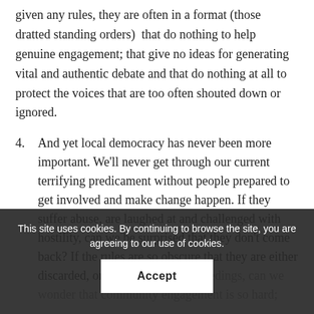given any rules, they are often in a format (those dratted standing orders)  that do nothing to help genuine engagement; that give no ideas for generating vital and authentic debate and that do nothing at all to protect the voices that are too often shouted down or ignored.
4. And yet local democracy has never been more important. We'll never get through our current terrifying predicament without people prepared to get involved and make change happen. If they suffer abuse, are laughed at and challenged with hostility, can we be surprised that they don't come back? If the rules are so obscure that they are either discarded, or they dominate proceedings, can we wonder that community engagement is so hard;
A few years ago I wrote a tongue in cheek piece about how to undermine community
This site uses cookies. By continuing to browse the site, you are agreeing to our use of cookies.